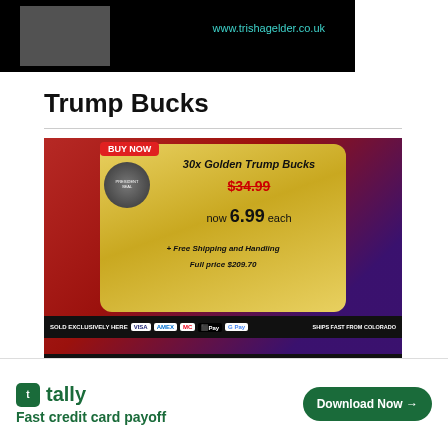[Figure (photo): Top black banner with website URL www.trishagelder.co.uk in teal text and silhouette image]
Trump Bucks
[Figure (infographic): Advertisement for 30x Golden Trump Bucks: BUY NOW badge, original price $34.99 crossed out, now 6.99 each, + Free Shipping and Handling, Full price $209.70. Payment icons: Visa, Amex, Mastercard, Apple Pay, Google Pay. Ships fast from Colorado. Features: Great Gifts for Patriots, Collectible, High Quality Gold Foil. Don't Miss Your Golden Chance!]
[Figure (infographic): Tally app advertisement: Fast credit card payoff, Download Now button]